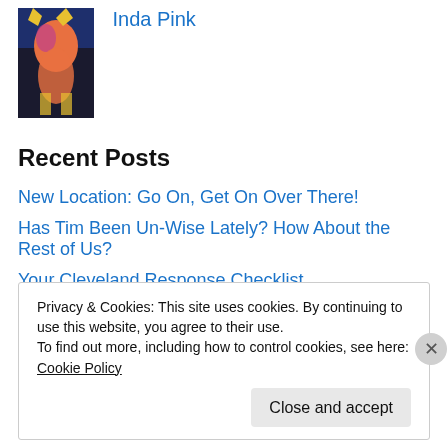[Figure (photo): Profile photo showing a cartoon character with pink and orange colors against a dark background]
Inda Pink
Recent Posts
New Location: Go On, Get On Over There!
Has Tim Been Un-Wise Lately? How About the Rest of Us?
Your Cleveland Response Checklist
Too Much Power in Those Pages!
Truth vs. Reality
Hey, I'm Racist Against Whites, Guys!
So Pretty…and Witty…and Wise…
Privacy & Cookies: This site uses cookies. By continuing to use this website, you agree to their use.
To find out more, including how to control cookies, see here: Cookie Policy
Close and accept